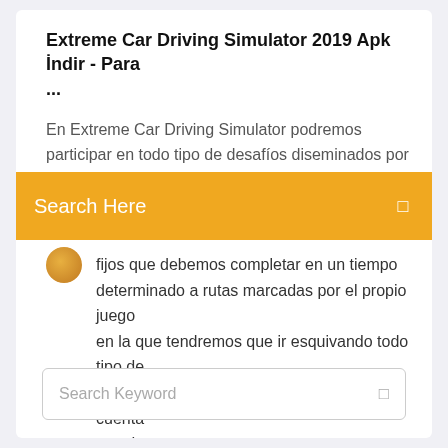Extreme Car Driving Simulator 2019 Apk İndir - Para ...
En Extreme Car Driving Simulator podremos participar en todo tipo de desafíos diseminados por
Search Here
fijos que debemos completar en un tiempo determinado a rutas marcadas por el propio juego en la que tendremos que ir esquivando todo tipo de obstáculos. Esta aplicación de simulación cuenta con dos
Search Keyword